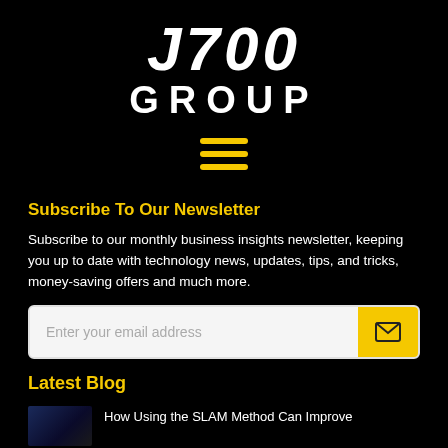J700 GROUP
[Figure (illustration): Hamburger menu icon with three horizontal yellow lines]
Subscribe To Our Newsletter
Subscribe to our monthly business insights newsletter, keeping you up to date with technology news, updates, tips, and tricks, money-saving offers and much more.
[Figure (screenshot): Email subscription input field with placeholder 'Enter your email address' and a yellow submit button with envelope icon]
Latest Blog
How Using the SLAM Method Can Improve